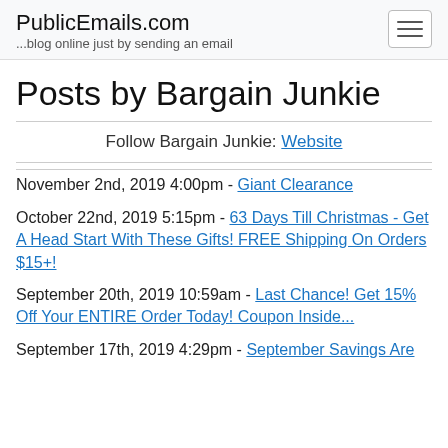PublicEmails.com ...blog online just by sending an email
Posts by Bargain Junkie
Follow Bargain Junkie: Website
November 2nd, 2019 4:00pm - Giant Clearance
October 22nd, 2019 5:15pm - 63 Days Till Christmas - Get A Head Start With These Gifts! FREE Shipping On Orders $15+!
September 20th, 2019 10:59am - Last Chance! Get 15% Off Your ENTIRE Order Today! Coupon Inside...
September 17th, 2019 4:29pm - September Savings Are